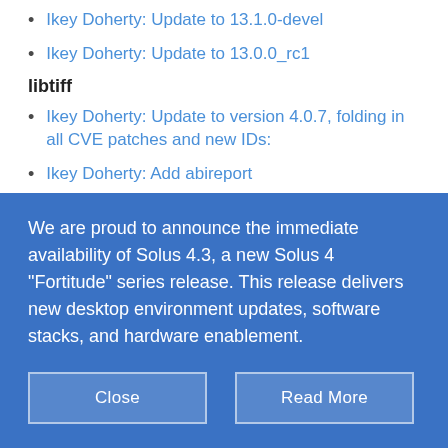Ikey Doherty: Update to 13.1.0-devel
Ikey Doherty: Update to 13.0.0_rc1
libtiff
Ikey Doherty: Update to version 4.0.7, folding in all CVE patches and new IDs:
Ikey Doherty: Add abireport
xkeyboard-config
We are proud to announce the immediate availability of Solus 4.3, a new Solus 4 "Fortitude" series release. This release delivers new desktop environment updates, software stacks, and hardware enablement.
Close
Read More